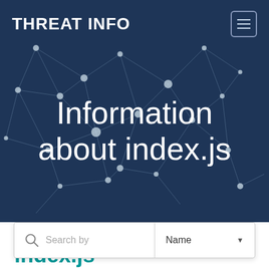THREAT INFO
[Figure (screenshot): Dark navy blue hero banner with white network node graph illustration (interconnected dots and lines), showing the title text 'Information about index.js' in large white serif/light font centered on the image.]
Information about index.js
Search by | Name
index.js